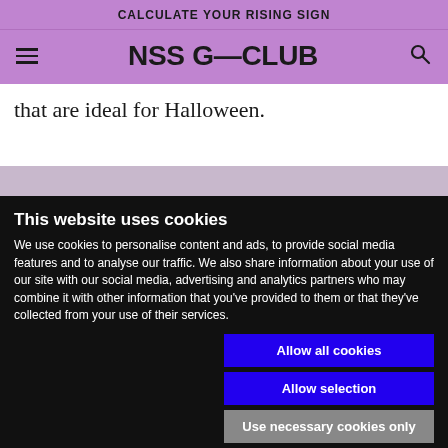CALCULATE YOUR RISING SIGN
[Figure (logo): NSS G-CLUB logo with hamburger menu and search icon on purple background]
that are ideal for Halloween.
This website uses cookies
We use cookies to personalise content and ads, to provide social media features and to analyse our traffic. We also share information about your use of our site with our social media, advertising and analytics partners who may combine it with other information that you've provided to them or that they've collected from your use of their services.
Allow all cookies
Allow selection
Use necessary cookies only
Necessary  Preferences  Statistics  Marketing  Show details